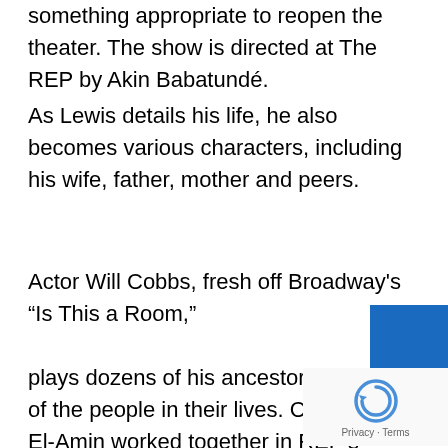something appropriate to reopen the theater. The show is directed at The REP by Akin Babatundé.
As Lewis details his life, he also becomes various characters, including his wife, father, mother and peers.
Actor Will Cobbs, fresh off Broadway's “Is This a Room,”
plays dozens of his ancestors and many of the people in their lives. Cobbs and El-Amin worked together in REP’s recent “Fences.”
Between the two actors, the audience meets characters from the days of slavery to now, with the show deftly moving from comedy to terrifying